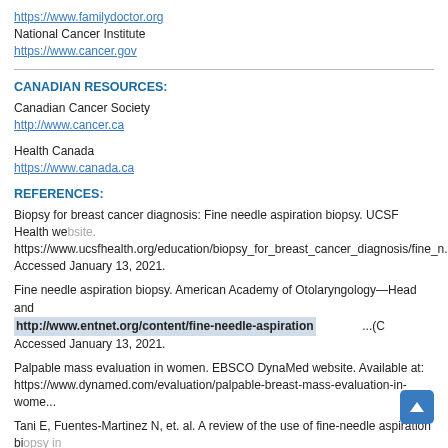https://www.familydoctor.org
National Cancer Institute
https://www.cancer.gov
CANADIAN RESOURCES:
Canadian Cancer Society
http://www.cancer.ca
Health Canada
https://www.canada.ca
REFERENCES:
Biopsy for breast cancer diagnosis: Fine needle aspiration biopsy. UCSF Health website. https://www.ucsfhealth.org/education/biopsy_for_breast_cancer_diagnosis/fine_n... Accessed January 13, 2021.
Fine needle aspiration biopsy. American Academy of Otolaryngology—Head and Neck Surgery website. http://www.entnet.org/content/fine-needle-aspiration ...(C... Accessed January 13, 2021.
Palpable mass evaluation in women. EBSCO DynaMed website. Available at: https://www.dynamed.com/evaluation/palpable-breast-mass-evaluation-in-wome...
Tani E, Fuentes-Martinez N, et. al. A review of the use of fine-needle aspiration biopsy in diagnosis and research. Acta Cytologica 2017;61:305-315.
Last reviewed February 2021 by EBSCO Medical Review Board Marcin Chwistek, MD
Last Updated: 1/13/2021